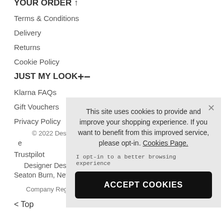YOUR ORDER ↑
Terms & Conditions
Delivery
Returns
Cookie Policy
JUST MY LOOK+−
Klarna FAQs
Gift Vouchers
Privacy Policy
© 2022 Desi
e
Trustpilot
Designer Desira
Seaton Burn, New
Company Reg
< Top
[Figure (screenshot): Cookie consent popup with message: 'This site uses cookies to provide and improve your shopping experience. If you want to benefit from this improved service, please opt-in. Cookies Page.' with opt-in text and ACCEPT COOKIES button]